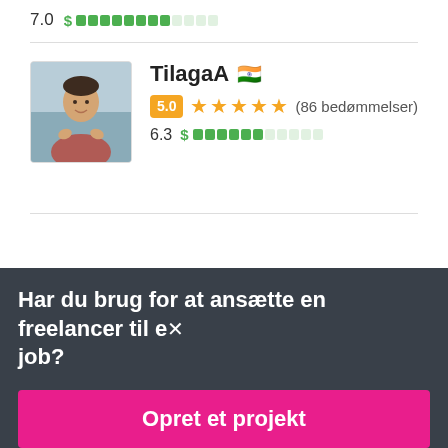7.0 $ ████████░░░░
[Figure (photo): Profile photo of freelancer TilagaA, a woman, small avatar image]
TilagaA 🇮🇳
5.0 ★★★★★ (86 bedømmelser)
6.3 $ ██████░░░░░
Har du brug for at ansætte en freelancer til et job?
Opret et projekt